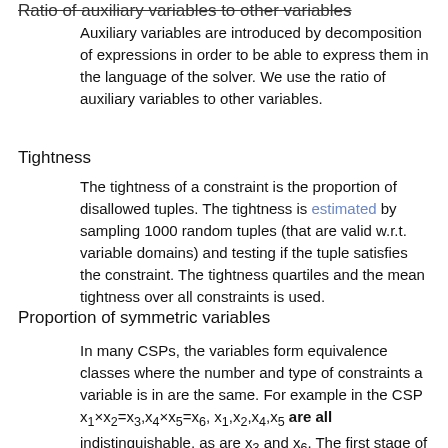Ratio of auxiliary variables to other variables
Auxiliary variables are introduced by decomposition of expressions in order to be able to express them in the language of the solver. We use the ratio of auxiliary variables to other variables.
Tightness
The tightness of a constraint is the proportion of disallowed tuples. The tightness is estimated by sampling 1000 random tuples (that are valid w.r.t. variable domains) and testing if the tuple satisfies the constraint. The tightness quartiles and the mean tightness over all constraints is used.
Proportion of symmetric variables
In many CSPs, the variables form equivalence classes where the number and type of constraints a variable is in are the same. For example in the CSP x1×x2=x3,x4×x5=x6, x1,x2,x4,x5 are all indistinguishable, as are x3 and x6. The first stage of the algorithm used by Nauty [17] detects this property. Given a partition of n variables generated by